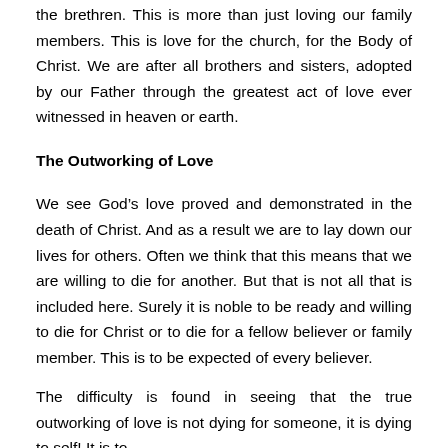the brethren. This is more than just loving our family members. This is love for the church, for the Body of Christ. We are after all brothers and sisters, adopted by our Father through the greatest act of love ever witnessed in heaven or earth.
The Outworking of Love
We see God’s love proved and demonstrated in the death of Christ. And as a result we are to lay down our lives for others. Often we think that this means that we are willing to die for another. But that is not all that is included here. Surely it is noble to be ready and willing to die for Christ or to die for a fellow believer or family member. This is to be expected of every believer.
The difficulty is found in seeing that the true outworking of love is not dying for someone, it is dying to self! It is to